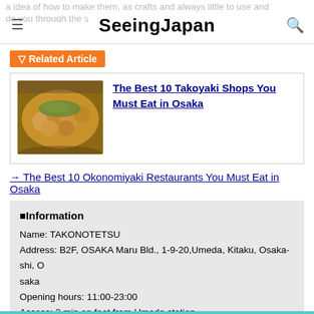SeeingJapan
a idea of how to make them, as crafts and always little to use and guide you through the s...
▽ Related Article
[Figure (photo): Photo of takoyaki food on a wooden plate with toppings]
The Best 10 Takoyaki Shops You Must Eat in Osaka
→ The Best 10 Okonomiyaki Restaurants You Must Eat in Osaka
■Information
Name: TAKONOTETSU
Address: B2F, OSAKA Maru Bld., 1-9-20,Umeda, Kitaku, Osaka-shi, Osaka
Opening hours: 11:00-23:00
Access: 2 min on foot from Umeda station
Website：http://www.takonotetsu.co.jp/
We hope our list of top 17 recommended places in Osaka will be a helpful guide for your trip!